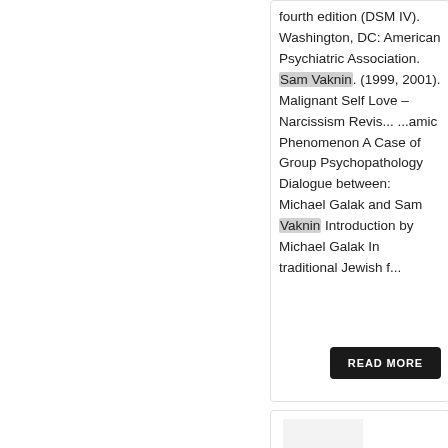fourth edition (DSM IV). Washington, DC: American Psychiatric Association. Sam Vaknin. (1999, 2001). Malignant Self Love – Narcissism Revis... ...amic Phenomenon A Case of Group Psychopathology Dialogue between: Michael Galak and Sam Vaknin Introduction by Michael Galak In traditional Jewish f...
READ MORE
[Figure (illustration): Book cover of 'Cyclopedia Of Philosophy' with 4th edition marking, authored by Sam Vaknin, Ph.D]